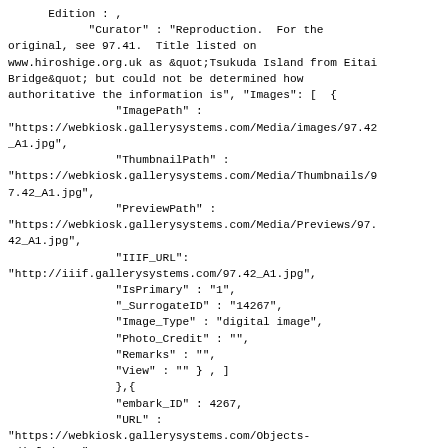Edition : ,
            "Curator" : "Reproduction.  For the
original, see 97.41.  Title listed on
www.hiroshige.org.uk as &quot;Tsukuda Island from Eitai
Bridge&quot; but could not be determined how
authoritative the information is", "Images": [  {
                "ImagePath" :
"https://webkiosk.gallerysystems.com/Media/images/97.42
_A1.jpg",
                "ThumbnailPath" :
"https://webkiosk.gallerysystems.com/Media/Thumbnails/9
7.42_A1.jpg",
                "PreviewPath" :
"https://webkiosk.gallerysystems.com/Media/Previews/97.
42_A1.jpg",
                "IIIF_URL":
"http://iiif.gallerysystems.com/97.42_A1.jpg",
                "IsPrimary" : "1",
                "_SurrogateID" : "14267",
                "Image_Type" : "digital image",
                "Photo_Credit" : "",
                "Remarks" : "",
                "View" : "" } , ]
                },{
                "embark_ID" : 4267,
                "URL" :
"https://webkiosk.gallerysystems.com/Objects-
1/info/4267",
                "Disp_Access_No" : "1997.41",
                "_AccNumSort1" : "",
                "Disp_Create_DT" : "1856-1858"